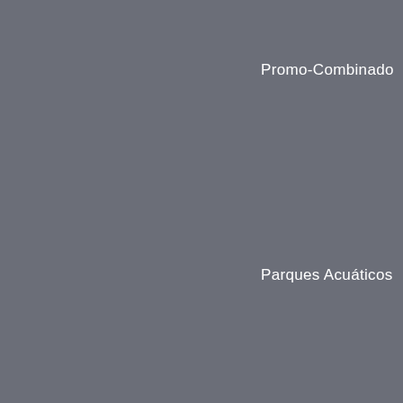Promo-Combinado
Parques Acuáticos
Selwo Aventura
ENTRADAS
Parque Warner Madrid